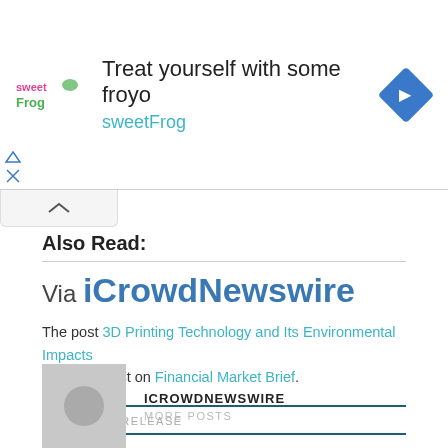[Figure (infographic): Ad banner for sweetFrog: 'Treat yourself with some froyo' with sweetFrog logo on left and blue diamond navigation icon on right]
Also Read:
Via iCrowdNewswire
The post 3D Printing Technology and Its Environmental Impacts appeared first on Financial Market Brief.
PRESS RELEASE
ICROWDNEWSWIRE
MORE POSTS